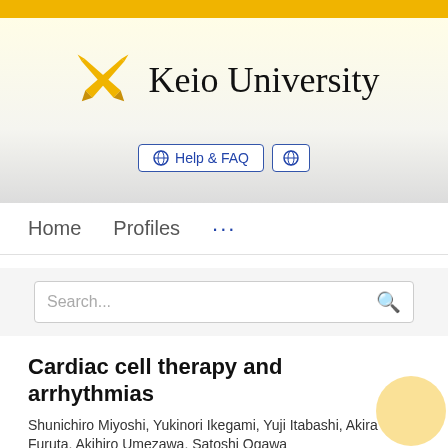[Figure (logo): Keio University logo with crossed golden quill pens and university name in serif font]
[Figure (screenshot): Help & FAQ button with globe icon and language globe button]
Home   Profiles   ...
[Figure (screenshot): Search bar with placeholder text 'Search...' and search icon]
Cardiac cell therapy and arrhythmias
Shunichiro Miyoshi, Yukinori Ikegami, Yuji Itabashi, Akira Furuta, Akihiro Umezawa, Satoshi Ogawa